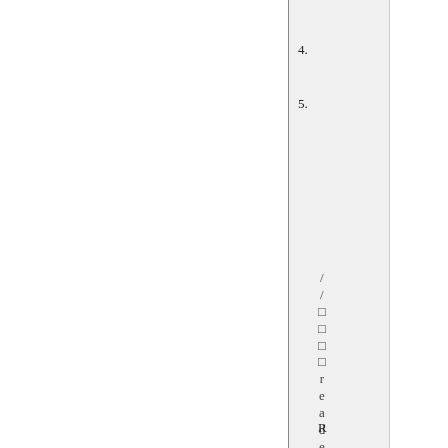4.
5.
/ / □ □ □ □ r e a d e r □ □ □ □ □ □ R